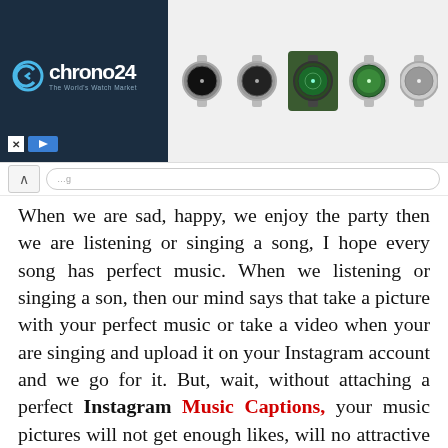[Figure (screenshot): Chrono24 watch advertisement banner showing logo on dark blue background and five watch images]
When we are sad, happy, we enjoy the party then we are listening or singing a song, I hope every song has perfect music. When we listening or singing a son, then our mind says that take a picture with your perfect music or take a video when your are singing and upload it on your Instagram account and we go for it. But, wait, without attaching a perfect Instagram Music Captions, your music pictures will not get enough likes, will no attractive and you don't also gain your Instagram followers. If you don't have any collections of this topic, then don't worry, we have huge collections of Music Captions, you need to check out our collections. I hope, you will like this